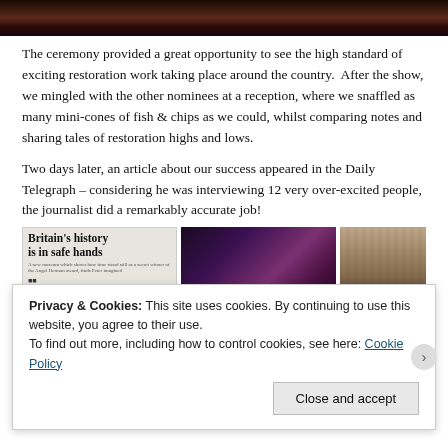[Figure (photo): Top portion of a photo showing people at an event, dark tones with warm lighting]
The ceremony provided a great opportunity to see the high standard of exciting restoration work taking place around the country.  After the show, we mingled with the other nominees at a reception, where we snaffled as many mini-cones of fish & chips as we could, whilst comparing notes and sharing tales of restoration highs and lows.
Two days later, an article about our success appeared in the Daily Telegraph – considering he was interviewing 12 very over-excited people, the journalist did a remarkably accurate job!
[Figure (photo): Three photos side by side: a newspaper article headlined 'Britain's history is in safe hands', a dark atmospheric event photo, and a ceremony/crowd photo]
Privacy & Cookies: This site uses cookies. By continuing to use this website, you agree to their use.
To find out more, including how to control cookies, see here: Cookie Policy